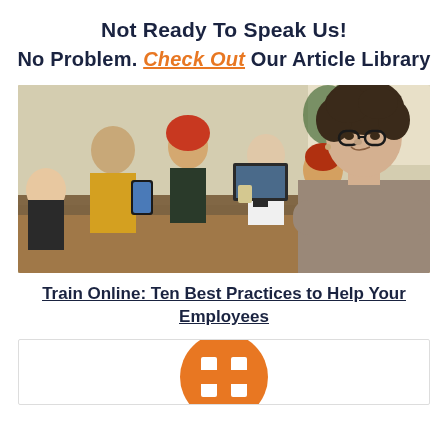Not Ready To Speak Us!
No Problem. Check Out Our Article Library
[Figure (photo): Group of office workers in a modern workspace; a woman with glasses and curly hair stands in foreground with arms crossed, smiling at camera; several colleagues work in background]
Train Online: Ten Best Practices to Help Your Employees
[Figure (logo): Partial orange circle logo with white cutout marks visible at bottom of page]